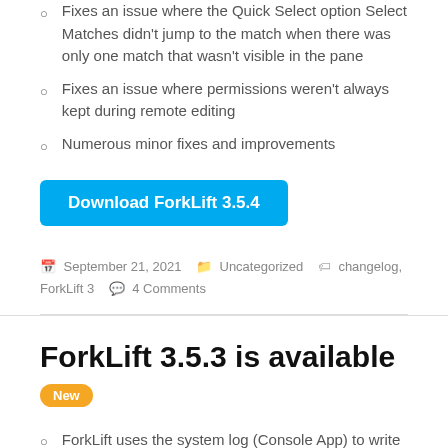Fixes an issue where the Quick Select option Select Matches didn't jump to the match when there was only one match that wasn't visible in the pane
Fixes an issue where permissions weren't always kept during remote editing
Numerous minor fixes and improvements
Download ForkLift 3.5.4
September 21, 2021   Uncategorized   changelog, ForkLift 3   4 Comments
ForkLift 3.5.3 is available
New
ForkLift uses the system log (Console App) to write FTP logs